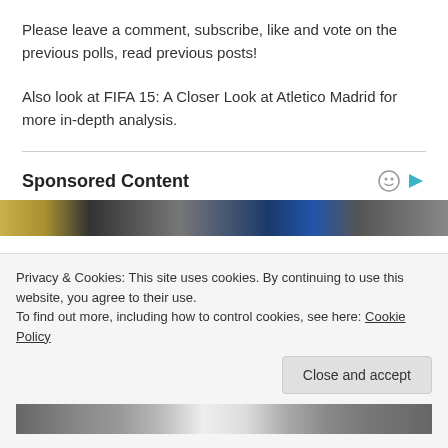Please leave a comment, subscribe, like and vote on the previous polls, read previous posts!
Also look at FIFA 15: A Closer Look at Atletico Madrid for more in-depth analysis.
Sponsored Content
[Figure (photo): Image strip showing a scene, partially visible]
Privacy & Cookies: This site uses cookies. By continuing to use this website, you agree to their use.
To find out more, including how to control cookies, see here: Cookie Policy
Close and accept